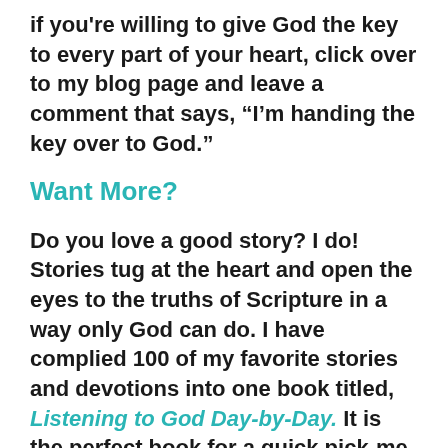if you're willing to give God the key to every part of your heart, click over to my blog page and leave a comment that says, “I’m handing the key over to God.”
Want More?
Do you love a good story? I do! Stories tug at the heart and open the eyes to the truths of Scripture in a way only God can do. I have complied 100 of my favorite stories and devotions into one book titled, Listening to God Day-by-Day. It is the perfect book for a quick pick-me-up before you start your busy day or a sweet dreams closure before you turn